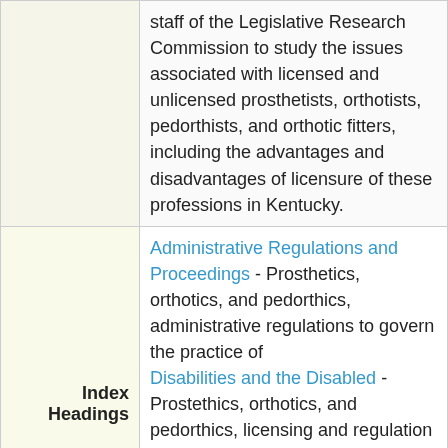|  |  |
| --- | --- |
|  | staff of the Legislative Research Commission to study the issues associated with licensed and unlicensed prosthetists, orthotists, pedorthists, and orthotic fitters, including the advantages and disadvantages of licensure of these professions in Kentucky. |
| Index Headings | Administrative Regulations and Proceedings - Prosthetics, orthotics, and pedorthics, administrative regulations to govern the practice of Disabilities and the Disabled - Prostethics, orthotics, and pedorthics, licensing and regulation of practitioners of Health and Medical Services - Prostethics, orthotics, and pedorthics, licensing and regulation of practitioners |